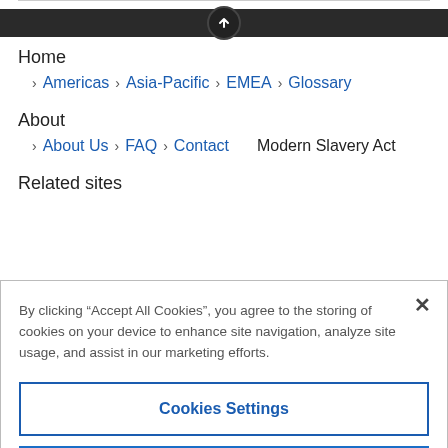Home
> Americas > Asia-Pacific > EMEA > Glossary
About
> About Us > FAQ > Contact   Modern Slavery Act
Related sites
By clicking “Accept All Cookies”, you agree to the storing of cookies on your device to enhance site navigation, analyze site usage, and assist in our marketing efforts.
Cookies Settings
Reject All